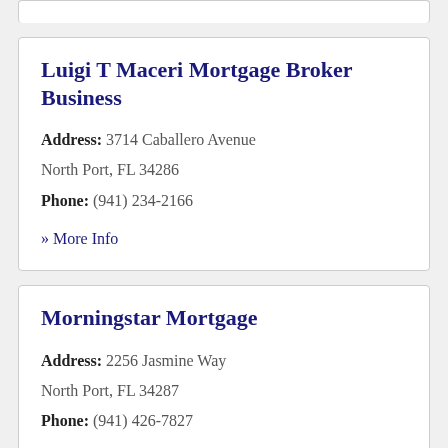Luigi T Maceri Mortgage Broker Business
Address: 3714 Caballero Avenue North Port, FL 34286
Phone: (941) 234-2166
» More Info
Morningstar Mortgage
Address: 2256 Jasmine Way North Port, FL 34287
Phone: (941) 426-7827
» More Info